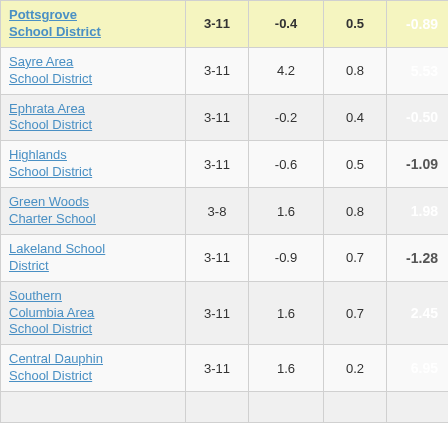| School District | Grades | Col3 | Col4 | Score |
| --- | --- | --- | --- | --- |
| Pottsgrove School District | 3-11 | -0.4 | 0.5 | -0.89 |
| Sayre Area School District | 3-11 | 4.2 | 0.8 | 5.53 |
| Ephrata Area School District | 3-11 | -0.2 | 0.4 | -0.50 |
| Highlands School District | 3-11 | -0.6 | 0.5 | -1.09 |
| Green Woods Charter School | 3-8 | 1.6 | 0.8 | 1.98 |
| Lakeland School District | 3-11 | -0.9 | 0.7 | -1.28 |
| Southern Columbia Area School District | 3-11 | 1.6 | 0.7 | 2.45 |
| Central Dauphin School District | 3-11 | 1.6 | 0.2 | 6.95 |